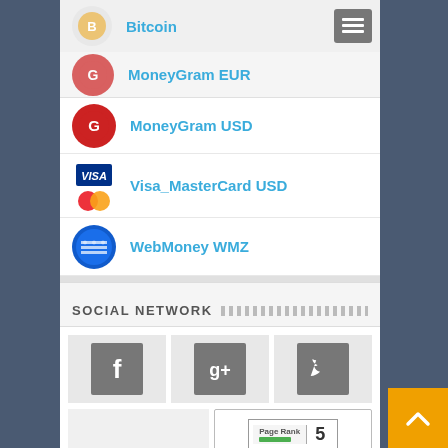Bitcoin
MoneyGram EUR
MoneyGram USD
Visa_MasterCard USD
WebMoney WMZ
SOCIAL NETWORK
[Figure (screenshot): Social network icons: Facebook, Google+, Twitter, and PageRank 5 badge]
Page Rank 5